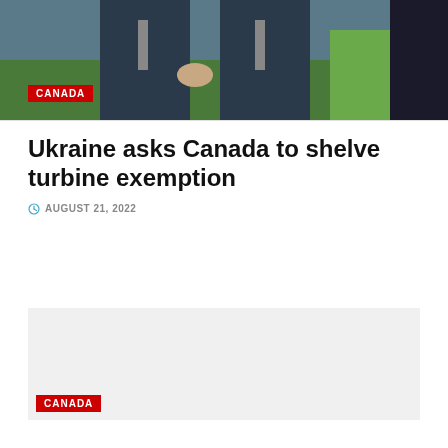[Figure (photo): Two men in dark suits standing outdoors in a green meadow, photographed from mid-torso. A 'CANADA' badge overlay is visible in the lower left.]
Ukraine asks Canada to shelve turbine exemption
AUGUST 21, 2022
[Figure (photo): A gray placeholder image with a 'CANADA' badge in the lower left corner.]